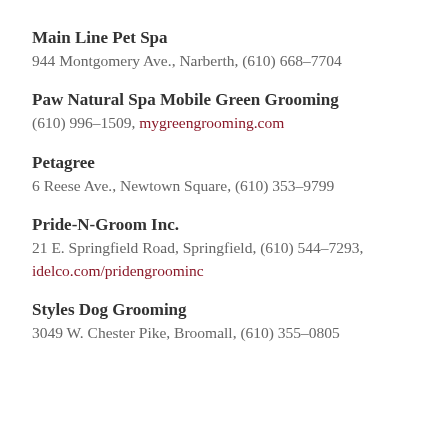Main Line Pet Spa
944 Montgomery Ave., Narberth, (610) 668-7704
Paw Natural Spa Mobile Green Grooming
(610) 996-1509, mygreengrooming.com
Petagree
6 Reese Ave., Newtown Square, (610) 353-9799
Pride-N-Groom Inc.
21 E. Springfield Road, Springfield, (610) 544-7293, idelco.com/pridengroominc
Styles Dog Grooming
3049 W. Chester Pike, Broomall, (610) 355-0805